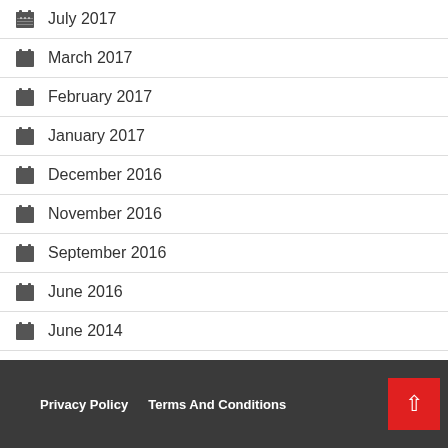July 2017
March 2017
February 2017
January 2017
December 2016
November 2016
September 2016
June 2016
June 2014
Privacy Policy   Terms And Conditions